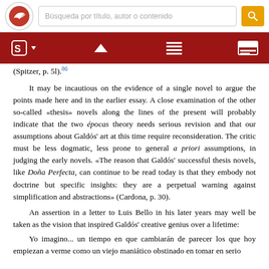[Figure (screenshot): Top navigation bar with logo circle containing a bird/arrow icon, a search box with placeholder text 'Búsqueda por título, autor o contenido', and a yellow search button with magnifying glass icon.]
[Figure (screenshot): Red toolbar with white icons: stylized S with dropdown arrow, caret/up arrow, list/menu icon, and horizontal lines icon.]
(Spitzer, p. 5l).86
It may be incautious on the evidence of a single novel to argue the points made here and in the earlier essay. A close examination of the other so-called «thesis» novels along the lines of the present will probably indicate that the two épocas theory needs serious revision and that our assumptions about Galdós' art at this time require reconsideration. The critic must be less dogmatic, less prone to general a priori assumptions, in judging the early novels. «The reason that Galdós' successful thesis novels, like Doña Perfecta, can continue to be read today is that they embody not doctrine but specific insights: they are a perpetual warning against simplification and abstractions» (Cardona, p. 30).
An assertion in a letter to Luis Bello in his later years may well be taken as the vision that inspired Galdós' creative genius over a lifetime:
Yo imagino... un tiempo en que cambiarán de parecer los que hoy empiezan a verme como un viejo maniático obstinado en tomar en serio